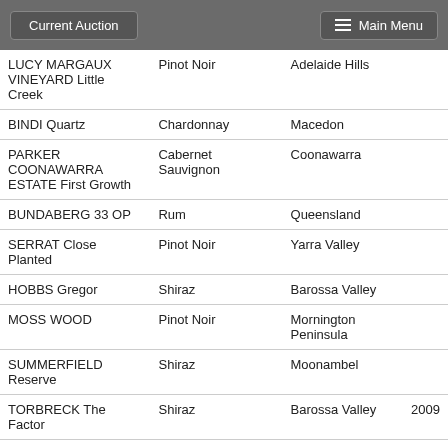Current Auction | Main Menu
| Name | Type | Region | Year |
| --- | --- | --- | --- |
| LUCY MARGAUX VINEYARD Little Creek | Pinot Noir | Adelaide Hills |  |
| BINDI Quartz | Chardonnay | Macedon |  |
| PARKER COONAWARRA ESTATE First Growth | Cabernet Sauvignon | Coonawarra |  |
| BUNDABERG 33 OP | Rum | Queensland |  |
| SERRAT Close Planted | Pinot Noir | Yarra Valley |  |
| HOBBS Gregor | Shiraz | Barossa Valley |  |
| MOSS WOOD | Pinot Noir | Mornington Peninsula |  |
| SUMMERFIELD Reserve | Shiraz | Moonambel |  |
| TORBRECK The Factor | Shiraz | Barossa Valley | 2009 |
| JACQUES SELOSSE Contraste Blanc de | Grand Cru | Champagne |  |